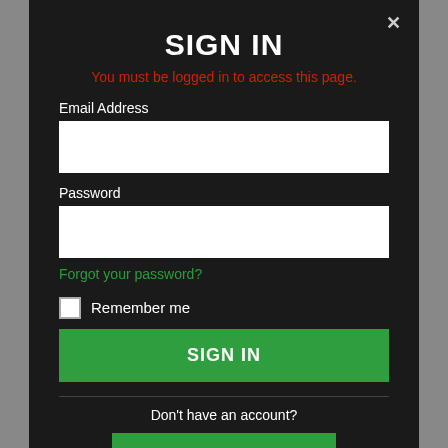SIGN IN
You must be logged in to access this page.
Email Address
[Figure (screenshot): Empty email address input field (white rectangle)]
Password
[Figure (screenshot): Empty password input field (white rectangle)]
Forgot your password?
Remember me
SIGN IN
Don't have an account?